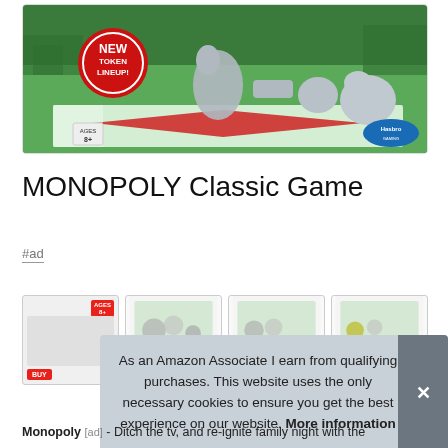[Figure (photo): Monopoly Classic Game box cover showing silver game tokens (cat, car, teapot, duck) on a board with green city background. Red badge says NEW TOKEN LINEUP. Ages 8+ and Hasbro logos visible.]
MONOPOLY Classic Game
#ad
[Figure (screenshot): Row of four Monopoly-related product thumbnails. First has Ages 8+ badge and BUY button.]
As an Amazon Associate I earn from qualifying purchases. This website uses the only necessary cookies to ensure you get the best experience on our website. More information
Monopoly [ad] - Ditch the tv, and re-ignite family night with the